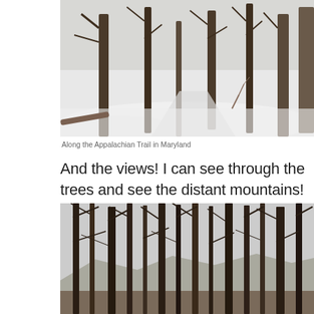[Figure (photo): Winter snowy forest trail along the Appalachian Trail in Maryland, with bare deciduous trees and snow-covered ground.]
Along the Appalachian Trail in Maryland
And the views! I can see through the trees and see the distant mountains!
[Figure (photo): Bare winter trees silhouetted against a pale grey sky with distant mountains visible through the leafless branches.]